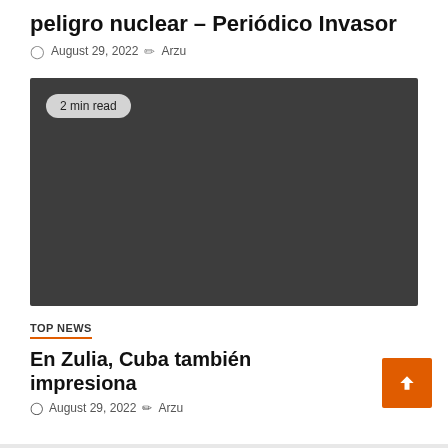peligro nuclear – Periódico Invasor
August 29, 2022  Arzu
[Figure (photo): Dark gray placeholder image block with a '2 min read' badge in the upper left corner]
TOP NEWS
En Zulia, Cuba también impresiona
August 29, 2022  Arzu